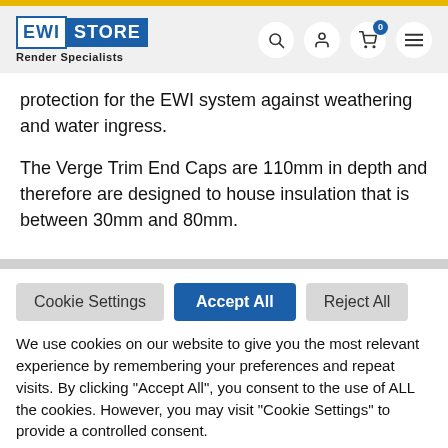EWI STORE Render Specialists
protection for the EWI system against weathering and water ingress.
The Verge Trim End Caps are 110mm in depth and therefore are designed to house insulation that is between 30mm and 80mm.
Cookie Settings | Accept All | Reject All
We use cookies on our website to give you the most relevant experience by remembering your preferences and repeat visits. By clicking "Accept All", you consent to the use of ALL the cookies. However, you may visit "Cookie Settings" to provide a controlled consent.